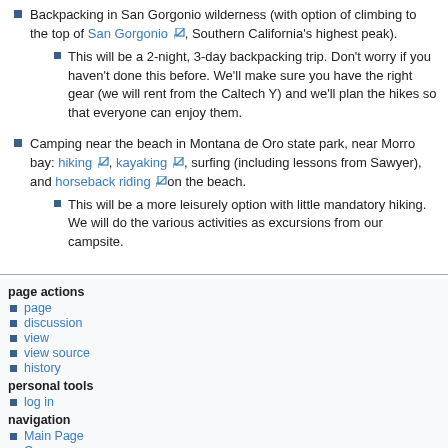Backpacking in San Gorgonio wilderness (with option of climbing to the top of San Gorgonio, Southern California's highest peak).
This will be a 2-night, 3-day backpacking trip. Don't worry if you haven't done this before. We'll make sure you have the right gear (we will rent from the Caltech Y) and we'll plan the hikes so that everyone can enjoy them.
Camping near the beach in Montana de Oro state park, near Morro bay: hiking, kayaking, surfing (including lessons from Sawyer), and horseback riding on the beach.
This will be a more leisurely option with little mandatory hiking. We will do the various activities as excursions from our campsite.
page actions
page
discussion
view
view source
history
personal tools
log in
navigation
Main Page
Courses
Events